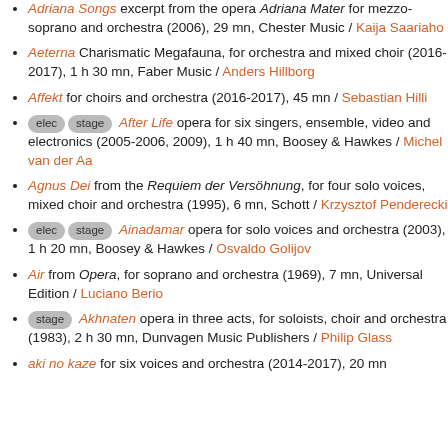Adriana Songs excerpt from the opera Adriana Mater for mezzo-soprano and orchestra (2006), 29 mn, Chester Music / Kaija Saariaho
Aeterna Charismatic Megafauna, for orchestra and mixed choir (2016-2017), 1 h 30 mn, Faber Music / Anders Hillborg
Affekt for choirs and orchestra (2016-2017), 45 mn / Sebastian Hilli
[elec] [stage] After Life opera for six singers, ensemble, video and electronics (2005-2006, 2009), 1 h 40 mn, Boosey & Hawkes / Michel van der Aa
Agnus Dei from the Requiem der Versöhnung, for four solo voices, mixed choir and orchestra (1995), 6 mn, Schott / Krzysztof Penderecki
[elec] [stage] Ainadamar opera for solo voices and orchestra (2003), 1 h 20 mn, Boosey & Hawkes / Osvaldo Golijov
Air from Opera, for soprano and orchestra (1969), 7 mn, Universal Edition / Luciano Berio
[stage] Akhnaten opera in three acts, for soloists, choir and orchestra (1983), 2 h 30 mn, Dunvagen Music Publishers / Philip Glass
aki no kaze for six voices and orchestra (2014-2017), 20 mn